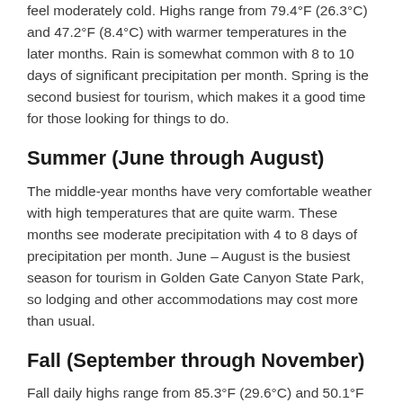feel moderately cold. Highs range from 79.4°F (26.3°C) and 47.2°F (8.4°C) with warmer temperatures in the later months. Rain is somewhat common with 8 to 10 days of significant precipitation per month. Spring is the second busiest for tourism, which makes it a good time for those looking for things to do.
Summer (June through August)
The middle-year months have very comfortable weather with high temperatures that are quite warm. These months see moderate precipitation with 4 to 8 days of precipitation per month. June – August is the busiest season for tourism in Golden Gate Canyon State Park, so lodging and other accommodations may cost more than usual.
Fall (September through November)
Fall daily highs range from 85.3°F (29.6°C) and 50.1°F (10.1°C), which will feel chilly given the humidity and wind to give a more significant…